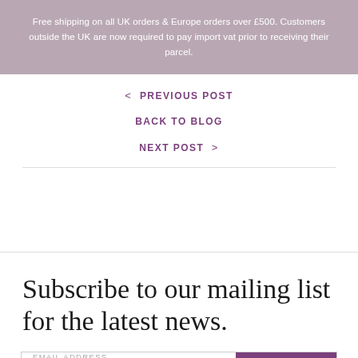Free shipping on all UK orders & Europe orders over £500. Customers outside the UK are now required to pay import vat prior to receiving their parcel.
< PREVIOUS POST
BACK TO BLOG
NEXT POST >
Subscribe to our mailing list for the latest news.
EMAIL ADDRESS  SUBSCRIBE